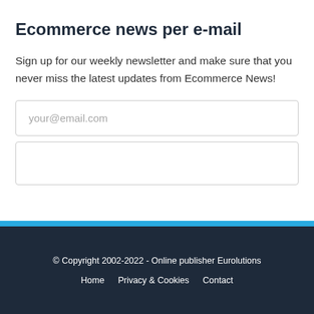Ecommerce news per e-mail
Sign up for our weekly newsletter and make sure that you never miss the latest updates from Ecommerce News!
your@email.com
© Copyright 2002-2022 - Online publisher Eurolutions
Home   Privacy & Cookies   Contact